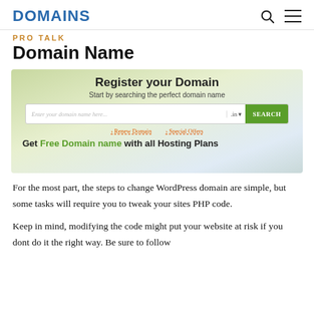DOMAINS
PRO TALK
Domain Name
[Figure (screenshot): Domain registration banner showing 'Register your Domain - Start by searching the perfect domain name' with a search bar, .in TLD selector, green SEARCH button, links for Renew Domain and Special Offers, and text 'Get Free Domain name with all Hosting Plans']
For the most part, the steps to change WordPress domain are simple, but some tasks will require you to tweak your sites PHP code.
Keep in mind, modifying the code might put your website at risk if you dont do it the right way. Be sure to follow